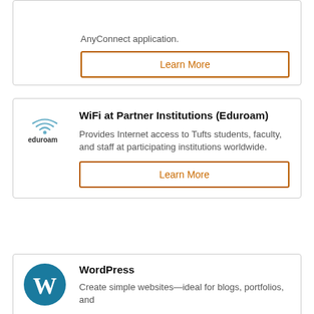AnyConnect application.
Learn More
WiFi at Partner Institutions (Eduroam)
Provides Internet access to Tufts students, faculty, and staff at participating institutions worldwide.
Learn More
WordPress
Create simple websites—ideal for blogs, portfolios, and ...